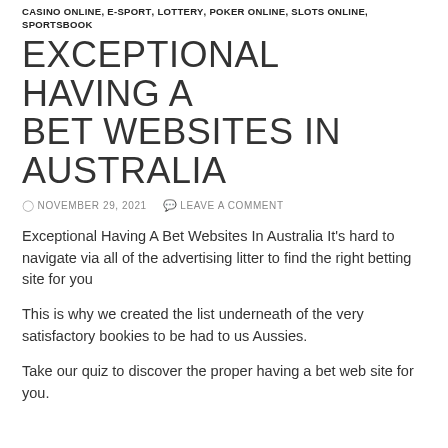CASINO ONLINE, E-SPORT, LOTTERY, POKER ONLINE, SLOTS ONLINE, SPORTSBOOK
EXCEPTIONAL HAVING A BET WEBSITES IN AUSTRALIA
NOVEMBER 29, 2021   LEAVE A COMMENT
Exceptional Having A Bet Websites In Australia It's hard to navigate via all of the advertising litter to find the right betting site for you
This is why we created the list underneath of the very satisfactory bookies to be had to us Aussies.
Take our quiz to discover the proper having a bet web site for you.